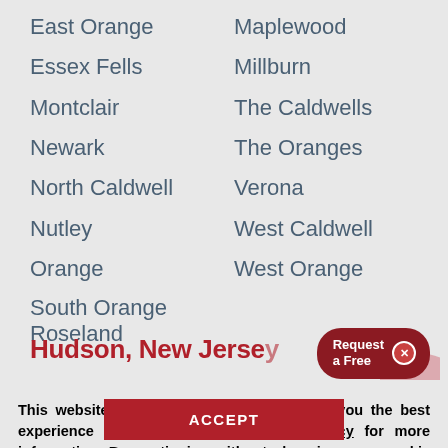East Orange
Essex Fells
Montclair
Newark
North Caldwell
Nutley
Orange
South Orange Roseland
Maplewood
Millburn
The Caldwells
The Oranges
Verona
West Caldwell
West Orange
Hudson, New Jersey
This website uses cookies to help provide you the best experience possible. See our Privacy Policy for more information. By continuing without changing your cookie settings within your browser, you are agreeing to our use of cookies.